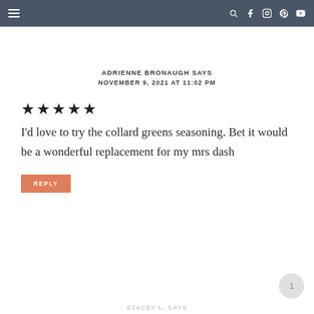Navigation bar with hamburger menu and social icons (search, facebook, instagram, pinterest, youtube)
ADRIENNE BRONAUGH SAYS
NOVEMBER 9, 2021 AT 11:02 PM
[Figure (other): 5 filled star rating icons]
I'd love to try the collard greens seasoning. Bet it would be a wonderful replacement for my mrs dash
REPLY
STACEY L. SAYS